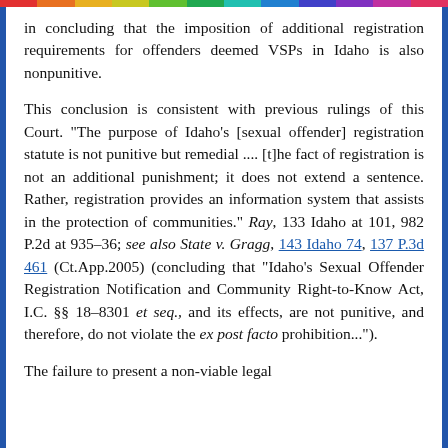in concluding that the imposition of additional registration requirements for offenders deemed VSPs in Idaho is also nonpunitive.
This conclusion is consistent with previous rulings of this Court. "The purpose of Idaho's [sexual offender] registration statute is not punitive but remedial .... [t]he fact of registration is not an additional punishment; it does not extend a sentence. Rather, registration provides an information system that assists in the protection of communities." Ray, 133 Idaho at 101, 982 P.2d at 935-36; see also State v. Gragg, 143 Idaho 74, 137 P.3d 461 (Ct.App.2005) (concluding that "Idaho's Sexual Offender Registration Notification and Community Right-to-Know Act, I.C. §§ 18-8301 et seq., and its effects, are not punitive, and therefore, do not violate the ex post facto prohibition...").
The failure to present a non-viable legal